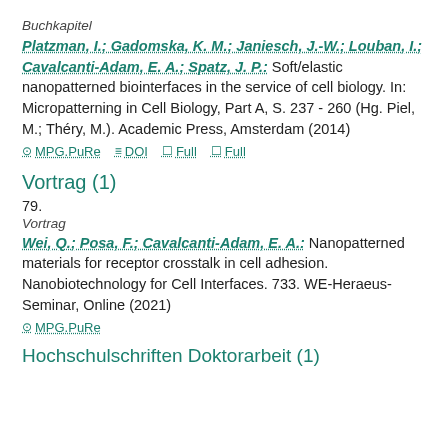Buchkapitel
Platzman, I.; Gadomska, K. M.; Janiesch, J.-W.; Louban, I.; Cavalcanti-Adam, E. A.; Spatz, J. P.: Soft/elastic nanopatterned biointerfaces in the service of cell biology. In: Micropatterning in Cell Biology, Part A, S. 237 - 260 (Hg. Piel, M.; Théry, M.). Academic Press, Amsterdam (2014)
MPG.PuRe  DOI  Full  Full
Vortrag (1)
79.
Vortrag
Wei, Q.; Posa, F.; Cavalcanti-Adam, E. A.: Nanopatterned materials for receptor crosstalk in cell adhesion. Nanobiotechnology for Cell Interfaces. 733. WE-Heraeus-Seminar, Online (2021)
MPG.PuRe
Hochschulschriften Doktorarbeit (1)